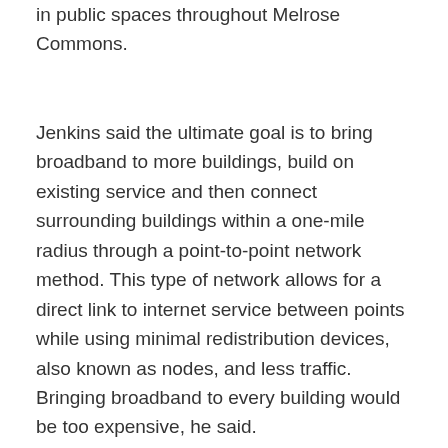buildings managed by Rob Abodamo, and in public spaces throughout Melrose Commons.
Jenkins said the ultimate goal is to bring broadband to more buildings, build on existing service and then connect surrounding buildings within a one-mile radius through a point-to-point network method. This type of network allows for a direct link to internet service between points while using minimal redistribution devices, also known as nodes, and less traffic. Bringing broadband to every building would be too expensive, he said.